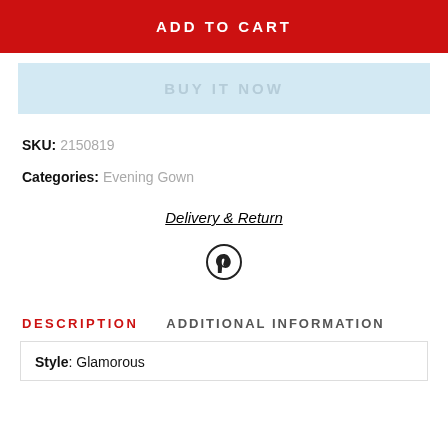ADD TO CART
BUY IT NOW
SKU: 2150819
Categories: Evening Gown
Delivery & Return
[Figure (logo): Pinterest icon (circular P logo)]
DESCRIPTION
ADDITIONAL INFORMATION
Style: Glamorous